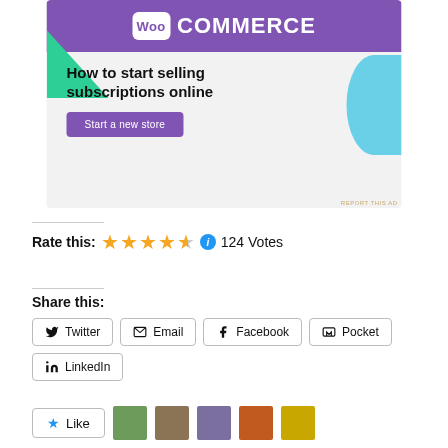[Figure (screenshot): WooCommerce advertisement banner with purple header, green and blue decorative shapes, headline 'How to start selling subscriptions online', and a 'Start a new store' purple button]
Rate this: ★★★★½ ⓘ 124 Votes
Share this:
Twitter
Email
Facebook
Pocket
LinkedIn
Like